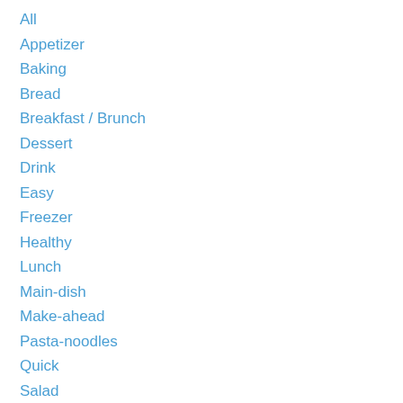All
Appetizer
Baking
Bread
Breakfast / Brunch
Dessert
Drink
Easy
Freezer
Healthy
Lunch
Main-dish
Make-ahead
Pasta-noodles
Quick
Salad
Seafood
Side-dish
Snack
Soup